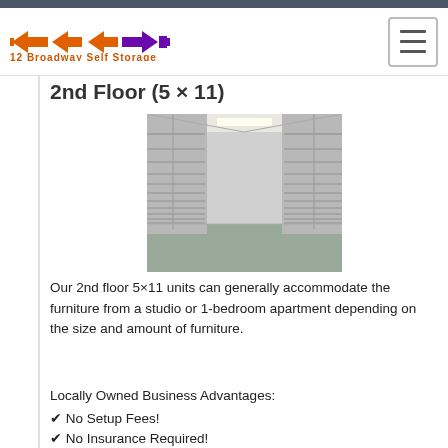12 Broadway Self Storage
2nd Floor (5 x 11)
[Figure (photo): Interior hallway of a self-storage facility showing rows of white roll-up doors with fluorescent lighting overhead.]
Our 2nd floor 5×11 units can generally accommodate the furniture from a studio or 1-bedroom apartment depending on the size and amount of furniture.
Locally Owned Business Advantages:
✔ No Setup Fees!
✔ No Insurance Required!
✔ Use your own lock, or buy a Master Lock® from us for $7.95
✔ Move in Specials: 1/2 Off 1st Month with 2-month stay, OR with a 3-month, or longer stay we will have our mover